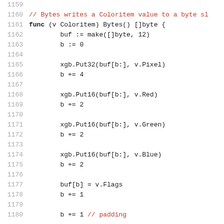1159
1160  // Bytes writes a Coloritem value to a byte sl
1161  func (v Coloritem) Bytes() []byte {
1162          buf := make([]byte, 12)
1163          b := 0
1164
1165          xgb.Put32(buf[b:], v.Pixel)
1166          b += 4
1167
1168          xgb.Put16(buf[b:], v.Red)
1169          b += 2
1170
1171          xgb.Put16(buf[b:], v.Green)
1172          b += 2
1173
1174          xgb.Put16(buf[b:], v.Blue)
1175          b += 2
1176
1177          buf[b] = v.Flags
1178          b += 1
1179
1180          b += 1 // padding